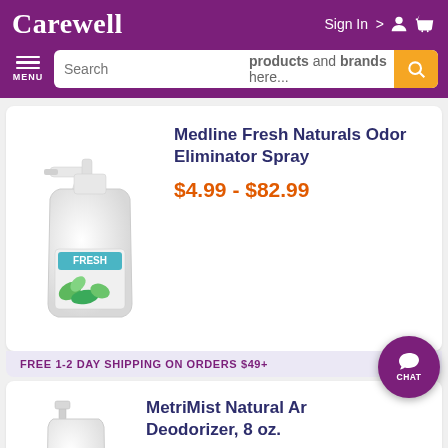Carewell
Sign In >
Search products and brands here...
MENU
[Figure (photo): White spray bottle with Fresh Naturals label with blue/green leaf design]
Medline Fresh Naturals Odor Eliminator Spray
$4.99 - $82.99
FREE 1-2 DAY SHIPPING ON ORDERS $49+
[Figure (photo): Small white spray bottle with MetriMist label]
MetriMist Natural Air Deodorizer, 8 oz.
$10.99